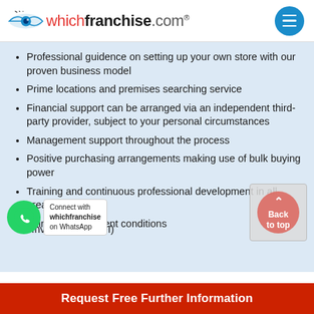whichfranchise.com®
Professional guidence on setting up your own store with our proven business model
Prime locations and premises searching service
Financial support can be arranged via an independent third-party provider, subject to your personal circumstances
Management support throughout the process
Positive purchasing arrangements making use of bulk buying power
Training and continuous professional development in all areas
Fair and transparent conditions
n Investments (ROI)
Request Free Further Information